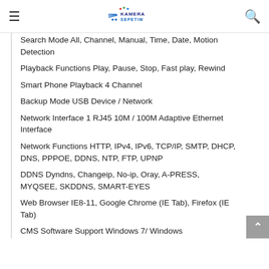Kamera Sepetim
Search Mode All, Channel, Manual, Time, Date, Motion Detection
Playback Functions Play, Pause, Stop, Fast play, Rewind
Smart Phone Playback 4 Channel
Backup Mode USB Device / Network
Network Interface 1 RJ45 10M / 100M Adaptive Ethernet Interface
Network Functions HTTP, IPv4, IPv6, TCP/IP, SMTP, DHCP, DNS, PPPOE, DDNS, NTP, FTP, UPNP
DDNS Dyndns, Changeip, No-ip, Oray, A-PRESS, MYQSEE, SKDDNS, SMART-EYES
Web Browser IE8-11, Google Chrome (IE Tab), Firefox (IE Tab)
CMS Software Support Windows 7/ Windows